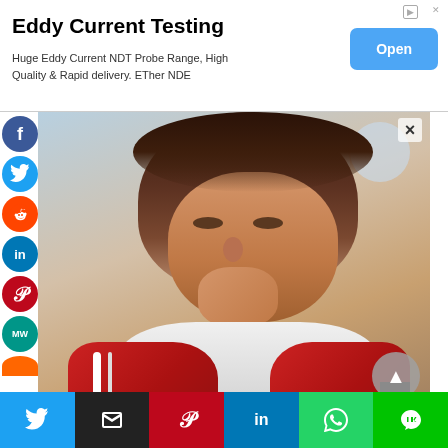[Figure (infographic): Advertisement banner for Eddy Current Testing - ETher NDE NDT probe products with Open button]
Eddy Current Testing
Huge Eddy Current NDT Probe Range, High Quality & Rapid delivery. ETher NDE
[Figure (photo): Young man in red and white hoodie resting chin on hands, social media share overlay with Facebook, Twitter, Reddit, LinkedIn, Pinterest, MindWallet buttons on left sidebar, close X button top right, triangle/up button bottom right]
[Figure (infographic): Bottom social sharing bar with Twitter, Email, Pinterest, LinkedIn, WhatsApp, and LINE buttons]